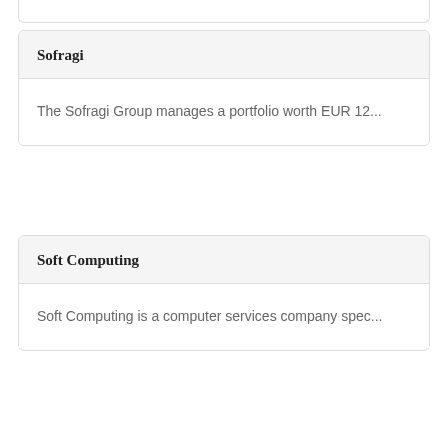Sofragi
The Sofragi Group manages a portfolio worth EUR 12...
Soft Computing
Soft Computing is a computer services company spec...